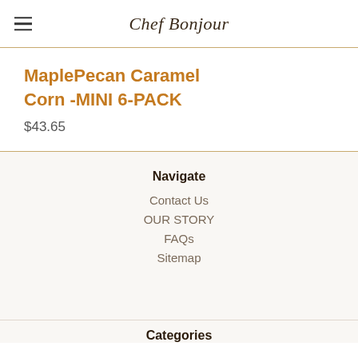Chef Bonjour
MaplePecan Caramel Corn -MINI 6-PACK
$43.65
Navigate
Contact Us
OUR STORY
FAQs
Sitemap
Categories